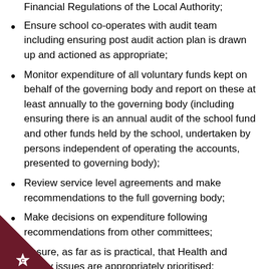Financial Regulations of the Local Authority;
Ensure school co-operates with audit team including ensuring post audit action plan is drawn up and actioned as appropriate;
Monitor expenditure of all voluntary funds kept on behalf of the governing body and report on these at least annually to the governing body (including ensuring there is an annual audit of the school fund and other funds held by the school, undertaken by persons independent of operating the accounts, presented to governing body);
Review service level agreements and make recommendations to the full governing body;
Make decisions on expenditure following recommendations from other committees;
Ensure, as far as is practical, that Health and Safety issues are appropriately prioritised;
Determine whether sufficient funds are available for